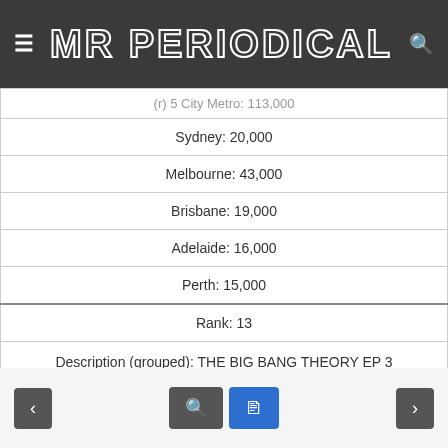MR PERIODICAL
| (r) 5 City Metro: 113,000 |
| Sydney: 20,000 |
| Melbourne: 43,000 |
| Brisbane: 19,000 |
| Adelaide: 16,000 |
| Perth: 15,000 |
| Rank: 13 |
| Description (grouped): THE BIG BANG THEORY EP 3 |
| Channel\Market: 10 Peach |
| (r) 5 City Metro: 111,000 |
< [search] [facebook] >